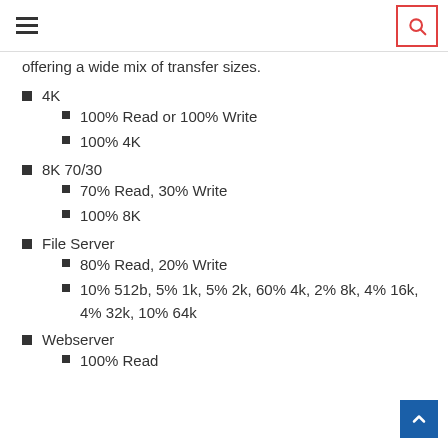[hamburger menu] [search icon]
offering a wide mix of transfer sizes.
4K
100% Read or 100% Write
100% 4K
8K 70/30
70% Read, 30% Write
100% 8K
File Server
80% Read, 20% Write
10% 512b, 5% 1k, 5% 2k, 60% 4k, 2% 8k, 4% 16k, 4% 32k, 10% 64k
Webserver
100% Read